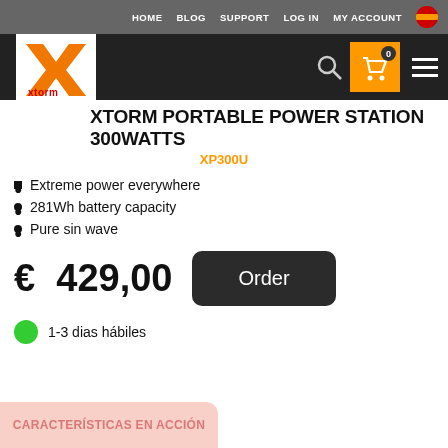HOME  BLOG  SUPPORT  LOG IN  MY ACCOUNT
[Figure (logo): Xtorm logo: orange X with 'xtorm' text on white background in top-left navigation bar]
XTORM PORTABLE POWER STATION 300WATTS
XP300U
Extreme power everywhere
281Wh battery capacity
Pure sin wave
€ 429,00
Order
1-3 dias hábiles